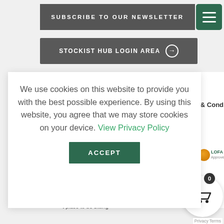SUBSCRIBE TO OUR NEWSLETTER
[Figure (illustration): Hamburger menu icon - three horizontal white lines on dark green rounded square]
STOCKIST HUB LOGIN AREA
We use cookies on this website to provide you with the best possible experience. By using this website, you agree that we may store cookies on your device. View Privacy Policy
ACCEPT
s & Conditions
[Figure (illustration): UK flag icon and LOFA Approved badge with orange circle logo]
[Figure (logo): Daro logo - cursive script with tagline 'A great place to be sitting']
[Figure (illustration): Shopping cart button with badge showing 0]
Privacy Terms